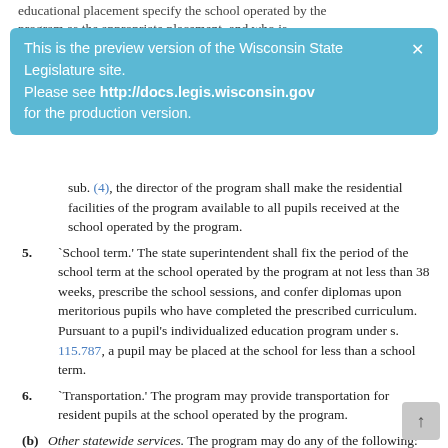educational placement specify the school operated by the program as the appropriate placement, and who is
[Figure (infographic): Light blue preview banner overlay: 'This is the preview version of the Wisconsin State Legislature site. Please see http://docs.legis.wisconsin.gov for the production version.' with an X close button.]
sub. (4), the director of the program shall make the residential facilities of the program available to all pupils received at the school operated by the program.
5. `School term.' The state superintendent shall fix the period of the school term at the school operated by the program at not less than 38 weeks, prescribe the school sessions, and confer diplomas upon meritorious pupils who have completed the prescribed curriculum. Pursuant to a pupil's individualized education program under s. 115.787, a pupil may be placed at the school for less than a school term.
6. `Transportation.' The program may provide transportation for resident pupils at the school operated by the program.
(b) Other statewide services. The program may do any of the following:
1. Provide evaluation services to assist local educational agencies, cooperative educational service agencies, county children with disabilities education boards, private schools, tribal schools, and others